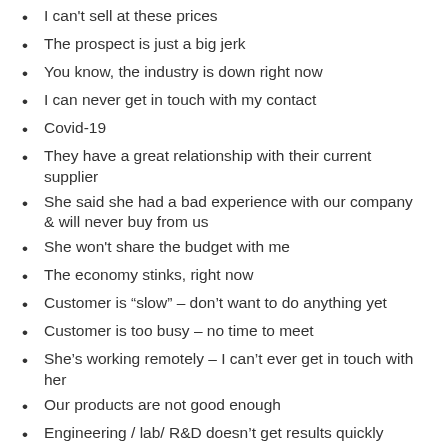I can't sell at these prices
The prospect is just a big jerk
You know, the industry is down right now
I can never get in touch with my contact
Covid-19
They have a great relationship with their current supplier
She said she had a bad experience with our company & will never buy from us
She won't share the budget with me
The economy stinks, right now
Customer is “slow” – don’t want to do anything yet
Customer is too busy – no time to meet
She’s working remotely – I can’t ever get in touch with her
Our products are not good enough
Engineering / lab/ R&D doesn’t get results quickly enough
Product development takes too long – lost the